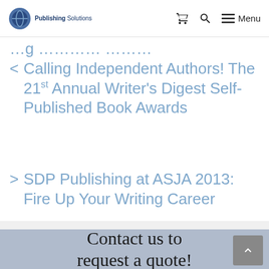Publishing Solutions — Menu
< Calling Independent Authors! The 21st Annual Writer's Digest Self-Published Book Awards
> SDP Publishing at ASJA 2013: Fire Up Your Writing Career
Contact us to request a quote!